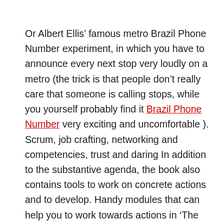Or Albert Ellis' famous metro Brazil Phone Number experiment, in which you have to announce every next stop very loudly on a metro (the trick is that people don't really care that someone is calling stops, while you yourself probably find it Brazil Phone Number very exciting and uncomfortable ). Scrum, job crafting, networking and competencies, trust and daring In addition to the substantive agenda, the book also contains tools to work on concrete actions and to develop. Handy modules that can help you to work towards actions in 'The good conversation' and actually take them.